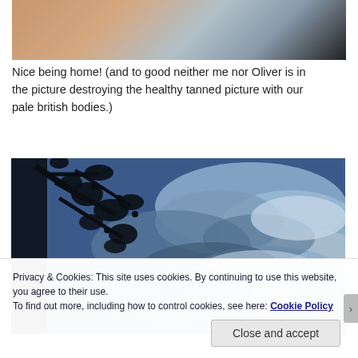[Figure (photo): Top portion of a photo showing people around a table with colorful items, partially cropped]
Nice being home! (and to good neither me nor Oliver is in the picture destroying the healthy tanned picture with our pale british bodies.)
[Figure (photo): Upward view of a blue sky with white clouds and dark silhouetted tree branches on the left]
Privacy & Cookies: This site uses cookies. By continuing to use this website, you agree to their use.
To find out more, including how to control cookies, see here: Cookie Policy